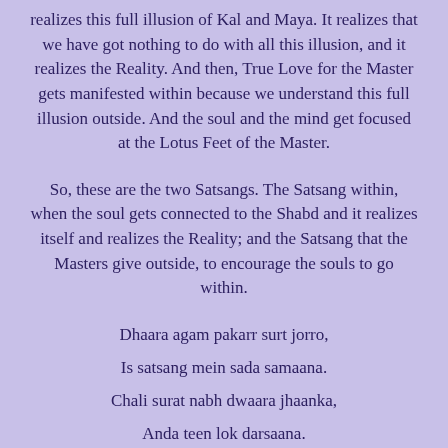realizes this full illusion of Kal and Maya. It realizes that we have got nothing to do with all this illusion, and it realizes the Reality. And then, True Love for the Master gets manifested within because we understand this full illusion outside. And the soul and the mind get focused at the Lotus Feet of the Master.
So, these are the two Satsangs. The Satsang within, when the soul gets connected to the Shabd and it realizes itself and realizes the Reality; and the Satsang that the Masters give outside, to encourage the souls to go within.
Dhaara agam pakarr surt jorro,
Is satsang mein sada samaana.
Chali surat nabh dwaara jhaanka,
Anda teen lok darsaana.